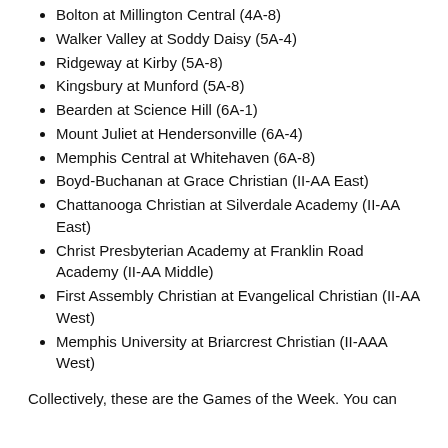Bolton at Millington Central (4A-8)
Walker Valley at Soddy Daisy (5A-4)
Ridgeway at Kirby (5A-8)
Kingsbury at Munford (5A-8)
Bearden at Science Hill (6A-1)
Mount Juliet at Hendersonville (6A-4)
Memphis Central at Whitehaven (6A-8)
Boyd-Buchanan at Grace Christian (II-AA East)
Chattanooga Christian at Silverdale Academy (II-AA East)
Christ Presbyterian Academy at Franklin Road Academy (II-AA Middle)
First Assembly Christian at Evangelical Christian (II-AA West)
Memphis University at Briarcrest Christian (II-AAA West)
Collectively, these are the Games of the Week. You can